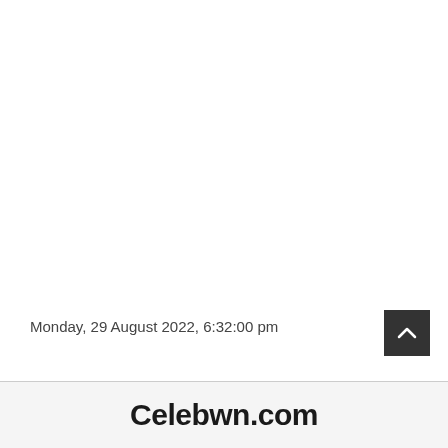Monday, 29 August 2022, 6:32:00 pm
Celebwn.com